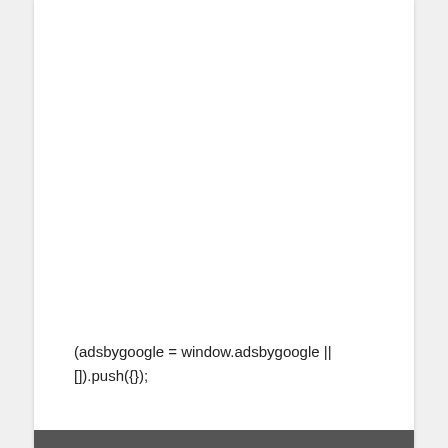(adsbygoogle = window.adsbygoogle || []).push({});